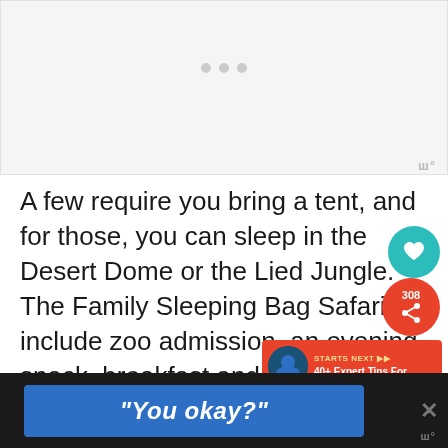[Figure (screenshot): Blank gray loading placeholder area with three small gray dots indicating loading state]
A few require you bring a tent, and for those, you can sleep in the Desert Dome or the Lied Jungle. The Family Sleeping Bag Safaris include zoo admission, an evening snack, breakfast and a visit from one Animal Ambassador.
[Figure (screenshot): Bottom banner ad with blue box containing italic text "You okay?" on dark background with X close button and Wibbitz watermark]
[Figure (screenshot): Social share overlay with teal heart button, red share button showing 308 shares, and expert tips advertisement overlay reading '40+ Expert Tips For...']